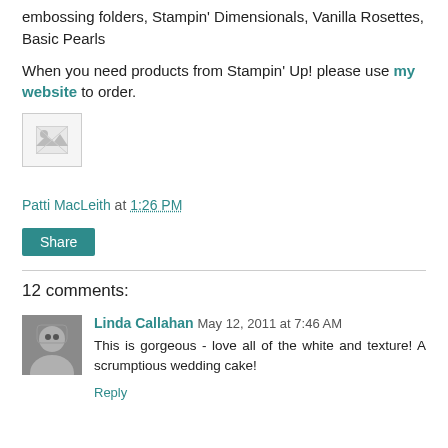embossing folders, Stampin' Dimensionals, Vanilla Rosettes, Basic Pearls
When you need products from Stampin' Up! please use my website to order.
[Figure (photo): Small broken/placeholder image icon]
Patti MacLeith at 1:26 PM
Share
12 comments:
Linda Callahan May 12, 2011 at 7:46 AM
This is gorgeous - love all of the white and texture! A scrumptious wedding cake!
Reply